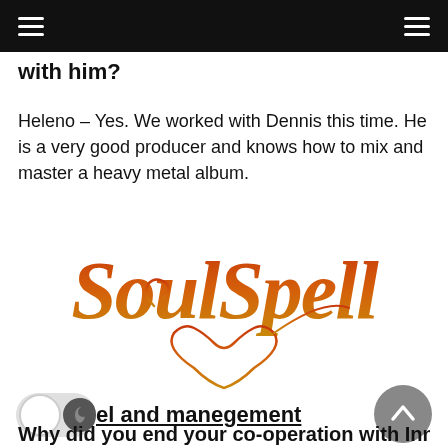with him?
Heleno – Yes. We worked with Dennis this time. He is a very good producer and knows how to mix and master a heavy metal album.
[Figure (logo): SoulSpell band logo in orange-red gradient stylized lettering with decorative heart shape underneath]
el and manegement
Why did you end your co-operation with Inner